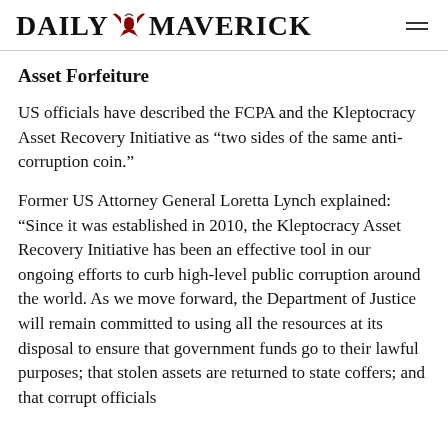DAILY MAVERICK
Asset Forfeiture
US officials have described the FCPA and the Kleptocracy Asset Recovery Initiative as “two sides of the same anti-corruption coin.”
Former US Attorney General Loretta Lynch explained: “Since it was established in 2010, the Kleptocracy Asset Recovery Initiative has been an effective tool in our ongoing efforts to curb high-level public corruption around the world. As we move forward, the Department of Justice will remain committed to using all the resources at its disposal to ensure that government funds go to their lawful purposes; that stolen assets are returned to state coffers; and that corrupt officials